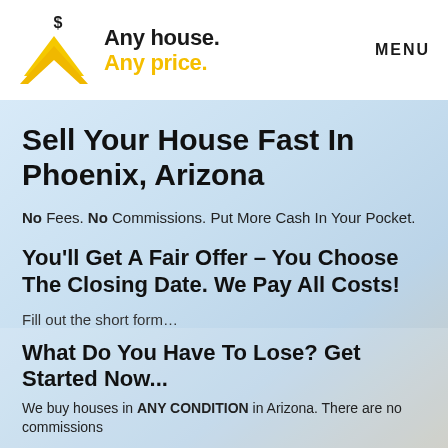[Figure (logo): Any house. Any price. logo with gold house/chevron icon and dollar sign, with MENU navigation link]
Sell Your House Fast In Phoenix, Arizona
No Fees. No Commissions. Put More Cash In Your Pocket.
You'll Get A Fair Offer – You Choose The Closing Date. We Pay All Costs!
Fill out the short form…
What Do You Have To Lose? Get Started Now...
We buy houses in ANY CONDITION in Arizona. There are no commissions